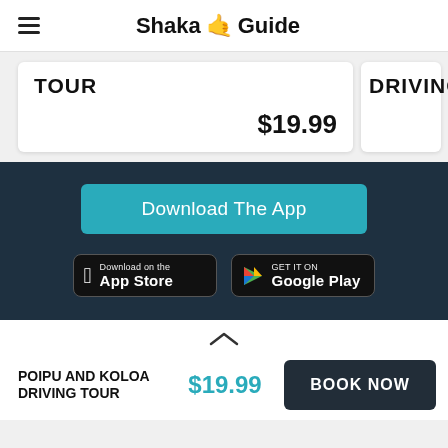Shaka Guide
TOUR  $19.99
DRIVING
Download The App
[Figure (screenshot): App Store download badge]
[Figure (screenshot): Google Play download badge]
POIPU AND KOLOA DRIVING TOUR  $19.99  BOOK NOW